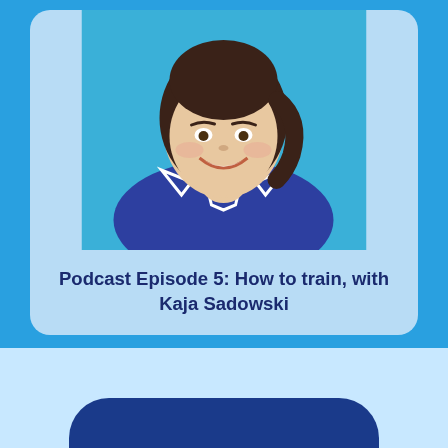[Figure (photo): A smiling woman with dark hair pulled back, wearing a navy blue t-shirt with a white geometric cat/fox logo, against a blue background. Podcast episode cover image.]
Podcast Episode 5: How to train, with Kaja Sadowski